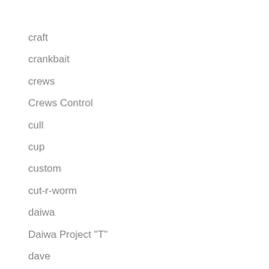craft
crankbait
crews
Crews Control
cull
cup
custom
cut-r-worm
daiwa
Daiwa Project "T"
dave
Dave Mercer